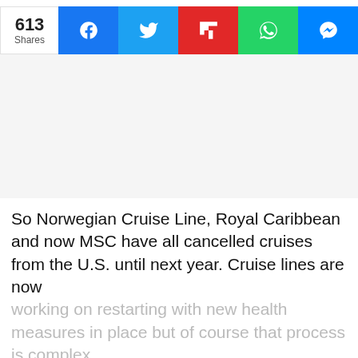[Figure (infographic): Social share bar showing 613 shares with buttons for Facebook, Twitter, Flipboard, WhatsApp, and Messenger]
So Norwegian Cruise Line, Royal Caribbean and now MSC have all cancelled cruises from the U.S. until next year. Cruise lines are now working on restarting with new health measures in place but of course that process is complex